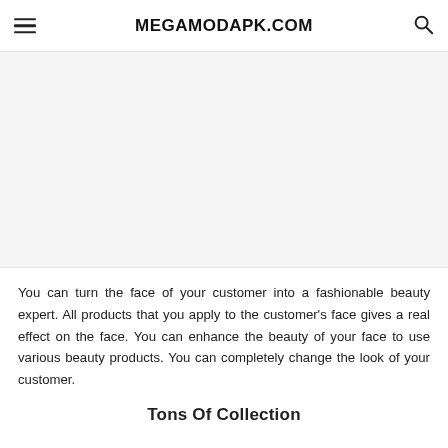MEGAMODAPK.COM
[Figure (other): Large blank/white image placeholder area below the navigation header]
You can turn the face of your customer into a fashionable beauty expert. All products that you apply to the customer’s face gives a real effect on the face. You can enhance the beauty of your face to use various beauty products. You can completely change the look of your customer.
Tons Of Collection